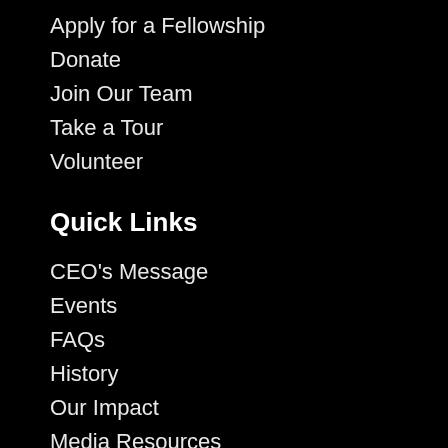Apply for a Fellowship
Donate
Join Our Team
Take a Tour
Volunteer
Quick Links
CEO's Message
Events
FAQs
History
Our Impact
Media Resources
News
Publications